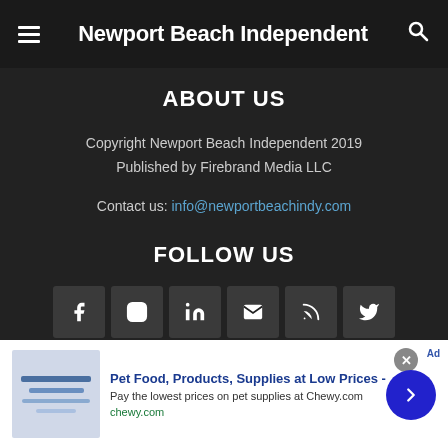Newport Beach Independent
ABOUT US
Copyright Newport Beach Independent 2019
Published by Firebrand Media LLC
Contact us: info@newportbeachindy.com
FOLLOW US
[Figure (other): Social media icons row: Facebook, Instagram, LinkedIn, Email, RSS, Twitter]
[Figure (other): Advertisement banner: Pet Food, Products, Supplies at Low Prices - chewy.com]